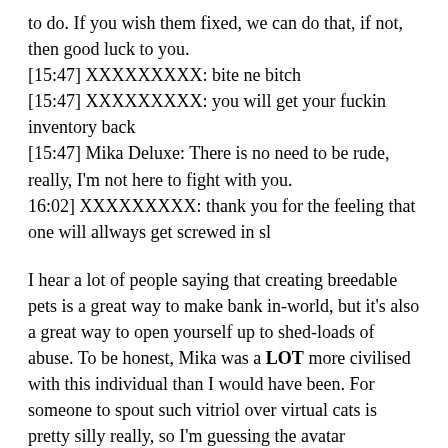to do. If you wish them fixed, we can do that, if not, then good luck to you.
[15:47] XXXXXXXXX: bite ne bitch
[15:47] XXXXXXXXX: you will get your fuckin inventory back
[15:47] Mika Deluxe: There is no need to be rude, really, I'm not here to fight with you.
16:02] XXXXXXXXX: thank you for the feeling that one will allways get screwed in sl
I hear a lot of people saying that creating breedable pets is a great way to make bank in-world, but it's also a great way to open yourself up to shed-loads of abuse. To be honest, Mika was a LOT more civilised with this individual than I would have been. For someone to spout such vitriol over virtual cats is pretty silly really, so I'm guessing the avatar concerned must have had an issue in real life that caused his pent-up rage to spill over into the